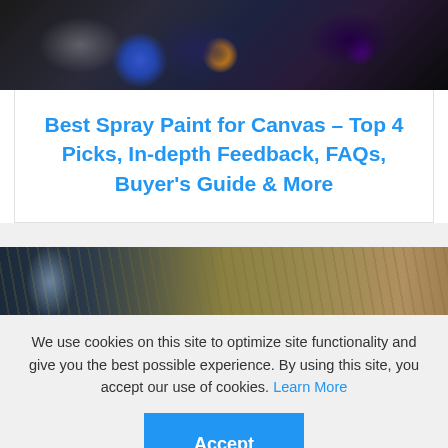[Figure (photo): Top view of spray paint cans with various colors (dark, blue, purple, orange) on dark background]
Best Spray Paint for Canvas – Top 4 Picks, In-depth Feedback, FAQs, Buyer's Guide & More
[Figure (photo): Partial view of spray painting scene with wood planks in background, warm golden/brown tones]
We use cookies on this site to optimize site functionality and give you the best possible experience. By using this site, you accept our use of cookies. Learn More
Accept
X